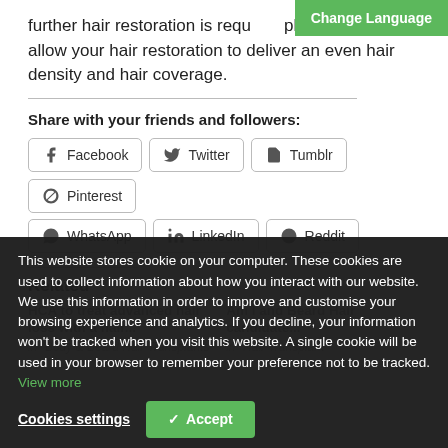further hair restoration is required planning will allow your hair restoration to deliver an even hair density and hair coverage.
Share with your friends and followers:
[Figure (other): Social sharing buttons: Facebook, Twitter, Tumblr, Pinterest, WhatsApp, LinkedIn, Reddit]
Related
This website stores cookie on your computer. These cookies are used to collect information about how you interact with our website. We use this information in order to improve and customise your browsing experience and analytics. If you decline, your information won't be tracked when you visit this website. A single cookie will be used in your browser to remember your preference not to be tracked. View more
Cookies settings
Accept